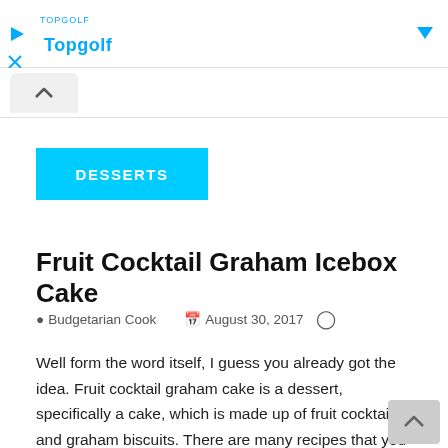[Figure (screenshot): Topgolf advertisement banner at the top of the page with logo, play icon, close icon, and dropdown arrow]
^ (navigation up button / tab bar)
DESSERTS
Fruit Cocktail Graham Icebox Cake
Budgetarian Cook   August 30, 2017
Well form the word itself, I guess you already got the idea. Fruit cocktail graham cake is a dessert, specifically a cake, which is made up of fruit cocktail and graham biscuits. There are many recipes that you can do with graham crackers, and this is one of them. To describe its output, it looks like a mango float but what differ in it are the toppings